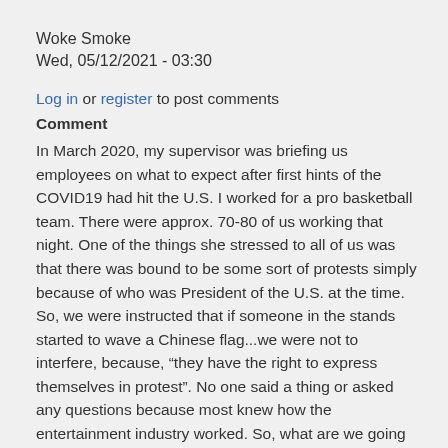Woke Smoke
Wed, 05/12/2021 - 03:30
Log in or register to post comments
Comment
In March 2020, my supervisor was briefing us employees on what to expect after first hints of the COVID19 had hit the U.S. I worked for a pro basketball team. There were approx. 70-80 of us working that night. One of the things she stressed to all of us was that there was bound to be some sort of protests simply because of who was President of the U.S. at the time. So, we were instructed that if someone in the stands started to wave a Chinese flag...we were not to interfere, because, “they have the right to express themselves in protest”. No one said a thing or asked any questions because most knew how the entertainment industry worked. So, what are we going to do?